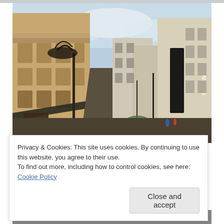[Figure (photo): Street-level photograph of a European city street lined with historic ornate buildings on the left, a 'Souvenirs' sign on the right side, street lamps, and pedestrians in the distance under a partly cloudy sky.]
Privacy & Cookies: This site uses cookies. By continuing to use this website, you agree to their use.
To find out more, including how to control cookies, see here: Cookie Policy
Close and accept